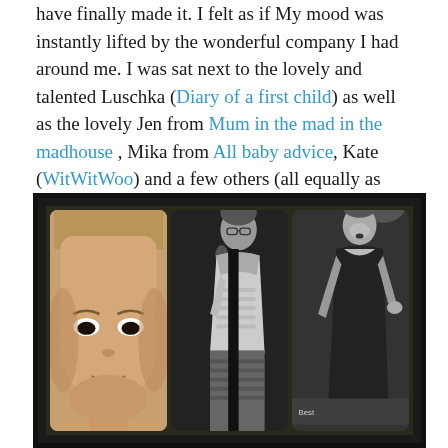have finally made it. I felt as if My mood was instantly lifted by the wonderful company I had around me. I was sat next to the lovely and talented Luschka (Diary of a first child) as well as the lovely Jen from Mum in the mad in the madhouse , Mika from All baby advice, Kate (WitWitWoo) and a few others (all equally as lovely). The atmosphere was wonderful and all finalist were in high spirits.
[Figure (photo): A framed collage of three photos: left panel shows a close-up of a young child's face with fair hair, middle panel shows a black-and-white photo of a woman in profile speaking or presenting, right panel shows a black-and-white photo of a woman in a black dress speaking at a podium.]